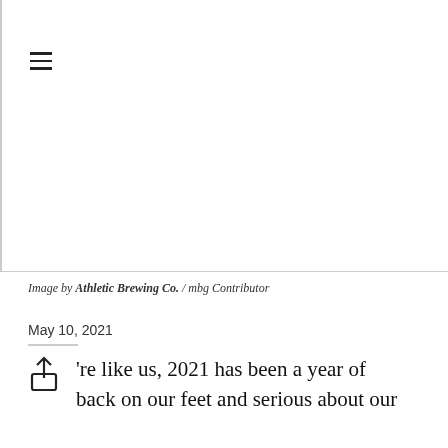[Figure (photo): Blank white image area with hamburger menu icon in top left corner]
Image by Athletic Brewing Co. / mbg Contributor
May 10, 2021
're like us, 2021 has been a year of back on our feet and serious about our